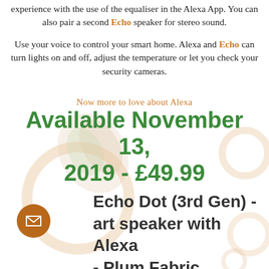experience with the use of the equaliser in the Alexa App. You can also pair a second Echo speaker for stereo sound.
Use your voice to control your smart home. Alexa and Echo can turn lights on and off, adjust the temperature or let you check your security cameras.
Now more to love about Alexa
Available November 13, 2019 - £49.99
Echo Dot (3rd Gen) - art speaker with Alexa - Plum Fabric